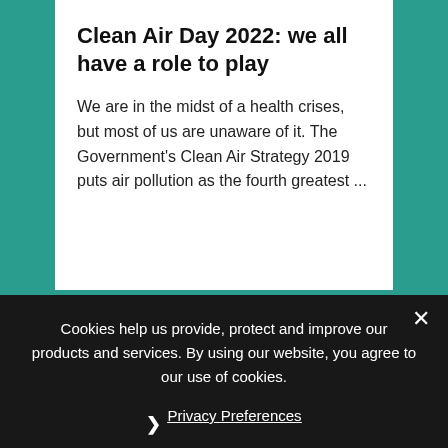Clean Air Day 2022: we all have a role to play
We are in the midst of a health crises, but most of us are unaware of it. The Government's Clean Air Strategy 2019 puts air pollution as the fourth greatest ...
Cookies help us provide, protect and improve our products and services. By using our website, you agree to our use of cookies.
❯ Privacy Preferences
I Agree